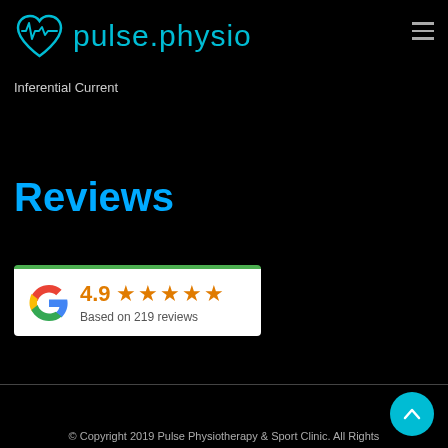pulse.physio
Inferential Current
Reviews
[Figure (other): Google review widget showing 4.9 star rating based on 219 reviews, with Google logo and five orange stars]
© Copyright 2019 Pulse Physiotherapy & Sport Clinic. All Rights